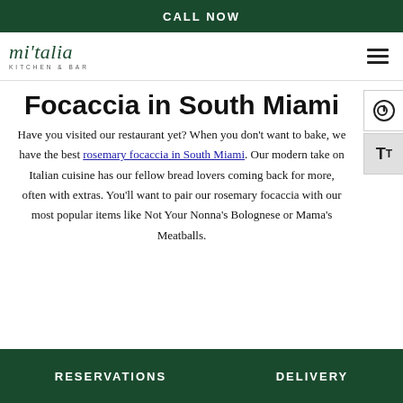CALL NOW
[Figure (logo): mi'talia KITCHEN & BAR logo with hamburger menu icon]
Focaccia in South Miami
Have you visited our restaurant yet? When you don't want to bake, we have the best rosemary focaccia in South Miami. Our modern take on Italian cuisine has our fellow bread lovers coming back for more, often with extras. You'll want to pair our rosemary focaccia with our most popular items like Not Your Nonna's Bolognese or Mama's Meatballs.
RESERVATIONS   DELIVERY